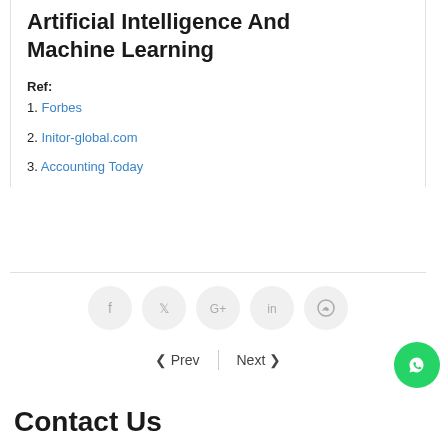Artificial Intelligence And Machine Learning
Ref:
1. Forbes
2. Initor-global.com
3. Accounting Today
[Figure (other): Social share buttons row: Facebook, Twitter, Google+, LinkedIn, WhatsApp]
< Prev   Next >
[Figure (other): WhatsApp floating action button (green circle with WhatsApp icon)]
Contact Us